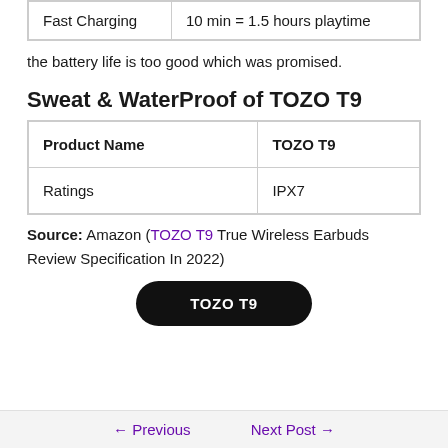| Fast Charging | 10 min = 1.5 hours playtime |
the battery life is too good which was promised.
Sweat & WaterProof of TOZO T9
| Product Name | TOZO T9 |
| --- | --- |
| Ratings | IPX7 |
Source: Amazon (TOZO T9 True Wireless Earbuds Review Specification In 2022)
TOZO T9
← Previous    Next Post →